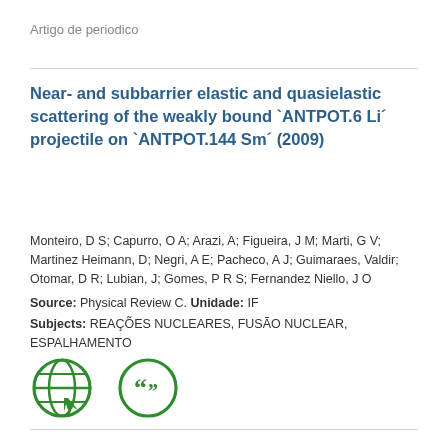Artigo de periodico
Near- and subbarrier elastic and quasielastic scattering of the weakly bound `ANTPOT.6 Li´ projectile on `ANTPOT.144 Sm´ (2009)
Monteiro, D S; Capurro, O A; Arazi, A; Figueira, J M; Marti, G V; Martinez Heimann, D; Negri, A E; Pacheco, A J; Guimaraes, Valdir; Otomar, D R; Lubian, J; Gomes, P R S; Fernandez Niello, J O
Source: Physical Review C. Unidade: IF
Subjects: REAÇÕES NUCLEARES, FUSÃO NUCLEAR, ESPALHAMENTO
[Figure (other): Two circular green icons: a globe/world icon and a quotation marks icon]